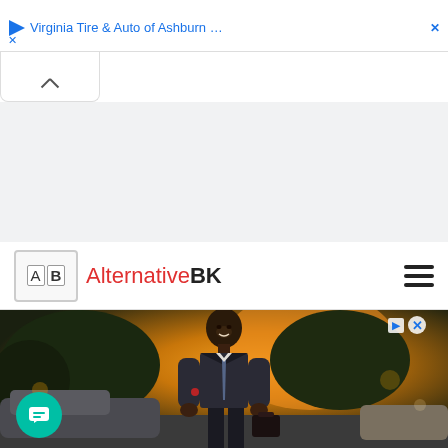Virginia Tire & Auto of Ashburn …
[Figure (screenshot): Website screenshot showing AlternativeBK logo and navigation bar, with an advertisement banner at top showing 'Virginia Tire & Auto of Ashburn...' and a photo of a man in a business suit walking outdoors at golden hour, with a teal chat bubble in the bottom left corner.]